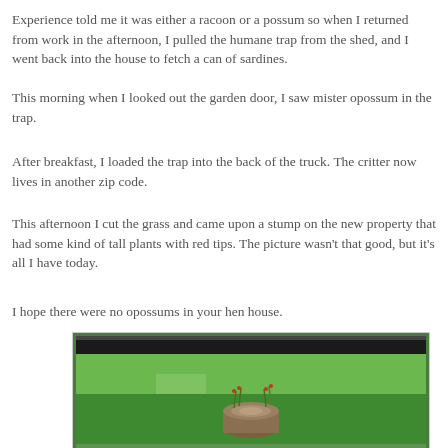Experience told me it was either a racoon or a possum so when I returned from work in the afternoon, I pulled the humane trap from the shed, and I went back into the house to fetch a can of sardines.
This morning when I looked out the garden door, I saw mister opossum in the trap.
After breakfast, I loaded the trap into the back of the truck. The critter now lives in another zip code.
This afternoon I cut the grass and came upon a stump on the new property that had some kind of tall plants with red tips. The picture wasn't that good, but it's all I have today.
I hope there were no opossums in your hen house.
[Figure (photo): Outdoor photo of a grassy field with a tree stump in the center foreground. The grass is green and lush. Trees and shrubs are visible along the background edge.]